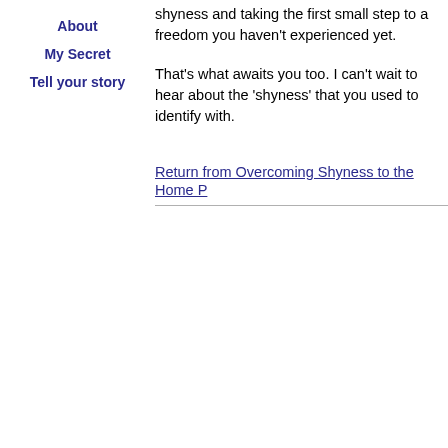About
My Secret
Tell your story
shyness and taking the first small step to a freedom you haven't experienced yet.
That's what awaits you too. I can't wait to hear about the 'shyness' that you used to identify with.
Return from Overcoming Shyness to the Home P...